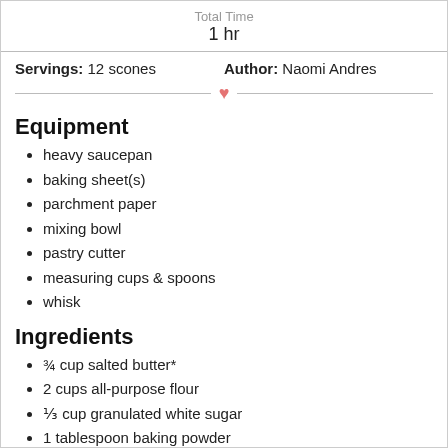Total Time
1 hr
Servings: 12 scones   Author: Naomi Andres
Equipment
heavy saucepan
baking sheet(s)
parchment paper
mixing bowl
pastry cutter
measuring cups & spoons
whisk
Ingredients
¾ cup salted butter*
2 cups all-purpose flour
⅓ cup granulated white sugar
1 tablespoon baking powder
½ cup whipping cream